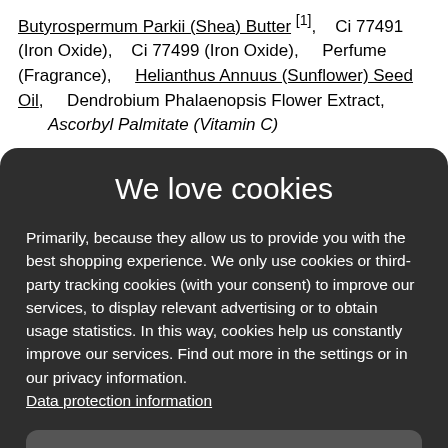Butyrospermum Parkii (Shea) Butter [1], Ci 77491 (Iron Oxide), Ci 77499 (Iron Oxide), Perfume (Fragrance), Helianthus Annuus (Sunflower) Seed Oil, Dendrobium Phalaenopsis Flower Extract, Ascorbyl Palmitate (Vitamin C)
We love cookies
Primarily, because they allow us to provide you with the best shopping experience. We only use cookies or third-party tracking cookies (with your consent) to improve our services, to display relevant advertising or to obtain usage statistics. In this way, cookies help us constantly improve our services. Find out more in the settings or in our privacy information. Data protection information